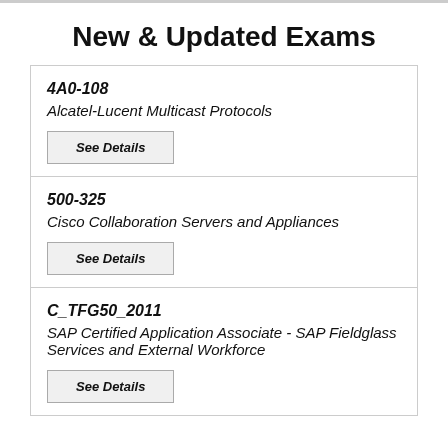New & Updated Exams
4A0-108
Alcatel-Lucent Multicast Protocols
See Details
500-325
Cisco Collaboration Servers and Appliances
See Details
C_TFG50_2011
SAP Certified Application Associate - SAP Fieldglass Services and External Workforce
See Details